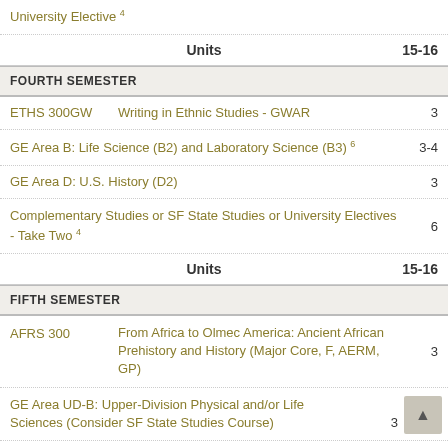University Elective ⁴
Units  15-16
FOURTH SEMESTER
ETHS 300GW  Writing in Ethnic Studies - GWAR  3
GE Area B: Life Science (B2) and Laboratory Science (B3) ⁶  3-4
GE Area D: U.S. History (D2)  3
Complementary Studies or SF State Studies or University Electives - Take Two ⁴  6
Units  15-16
FIFTH SEMESTER
AFRS 300  From Africa to Olmec America: Ancient African Prehistory and History (Major Core, F, AERM, GP)  3
GE Area UD-B: Upper-Division Physical and/or Life Sciences (Consider SF State Studies Course)  3